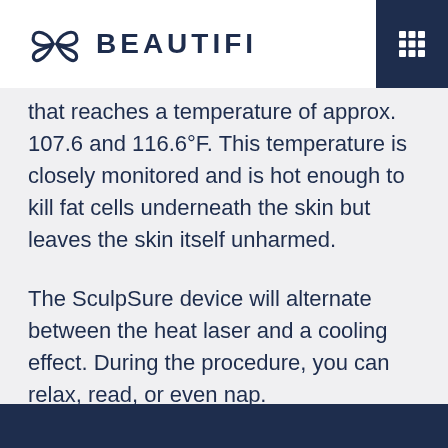BEAUTIFI
that reaches a temperature of approx. 107.6 and 116.6°F. This temperature is closely monitored and is hot enough to kill fat cells underneath the skin but leaves the skin itself unharmed.
The SculpSure device will alternate between the heat laser and a cooling effect. During the procedure, you can relax, read, or even nap.